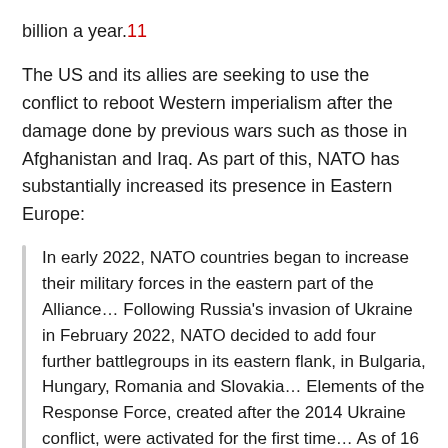billion a year.11
The US and its allies are seeking to use the conflict to reboot Western imperialism after the damage done by previous wars such as those in Afghanistan and Iraq. As part of this, NATO has substantially increased its presence in Eastern Europe:
In early 2022, NATO countries began to increase their military forces in the eastern part of the Alliance… Following Russia's invasion of Ukraine in February 2022, NATO decided to add four further battlegroups in its eastern flank, in Bulgaria, Hungary, Romania and Slovakia… Elements of the Response Force, created after the 2014 Ukraine conflict, were activated for the first time… As of 16 March 2022, NATO says it has 40,000 troops under direct NATO command, 130 allied aircraft at high alert and 140 allied ships at sea.12
There are also plans for further NATO expansion, with